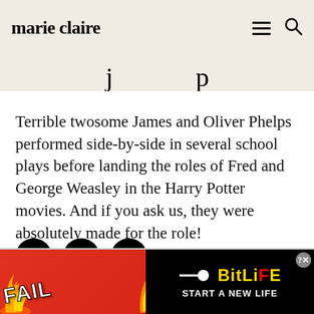marie claire
j p
Terrible twosome James and Oliver Phelps performed side-by-side in several school plays before landing the roles of Fred and George Weasley in the Harry Potter movies. And if you ask us, they were absolutely made for the role!
[Figure (infographic): Social sharing icons: Facebook, Twitter, Pinterest as black circles with white icons]
[Figure (infographic): BitLife advertisement banner with FAIL text, cartoon character, flames, and START A NEW LIFE tagline]